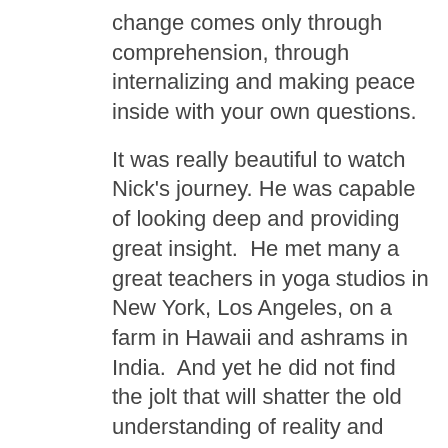change comes only through comprehension, through internalizing and making peace inside with your own questions.
It was really beautiful to watch Nick's journey. He was capable of looking deep and providing great insight. He met many a great teachers in yoga studios in New York, Los Angeles, on a farm in Hawaii and ashrams in India. And yet he did not find the jolt that will shatter the old understanding of reality and bring enlightenment.
But what is enlightenment? After the movie Kate and Nick were answering questions and they told us a story of how they met someone who described the moment of enlightenment as nothing. Nick asked what does that feel like, what is the nothing? They told us laughingly that